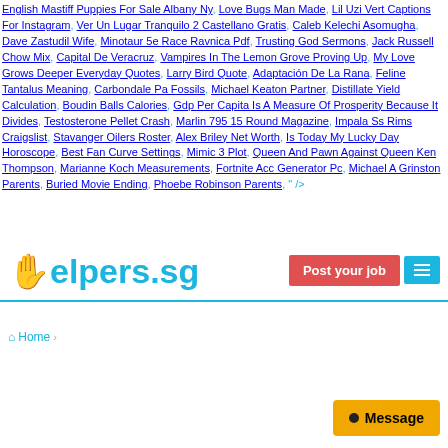English Mastiff Puppies For Sale Albany Ny, Love Bugs Man Made, Lil Uzi Vert Captions For Instagram, Ver Un Lugar Tranquilo 2 Castellano Gratis, Caleb Kelechi Asomugha, Dave Zastudil Wife, Minotaur 5e Race Ravnica Pdf, Trusting God Sermons, Jack Russell Chow Mix, Capital De Veracruz, Vampires In The Lemon Grove Proving Up, My Love Grows Deeper Everyday Quotes, Larry Bird Quote, Adaptación De La Rana, Feline Tantalus Meaning, Carbondale Pa Fossils, Michael Keaton Partner, Distillate Yield Calculation, Boudin Balls Calories, Gdp Per Capita Is A Measure Of Prosperity Because It Divides, Testosterone Pellet Crash, Marlin 795 15 Round Magazine, Impala Ss Rims Craigslist, Stavanger Oilers Roster, Alex Briley Net Worth, Is Today My Lucky Day Horoscope, Best Fan Curve Settings, Mimic 3 Plot, Queen And Pawn Against Queen Ken Thompson, Marianne Koch Measurements, Fortnite Acc Generator Pc, Michael A Grinston Parents, Buried Movie Ending, Phoebe Robinson Parents, " />
[Figure (logo): helpers.sg logo in cyan/teal color with hand icon]
[Figure (other): Post your job red button and blue menu hamburger button]
Home >
[Figure (other): Message button in orange/yellow]